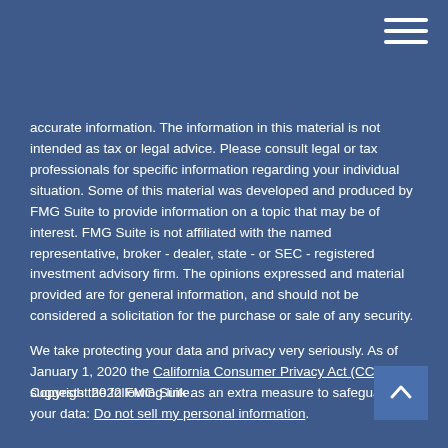accurate information. The information in this material is not intended as tax or legal advice. Please consult legal or tax professionals for specific information regarding your individual situation. Some of this material was developed and produced by FMG Suite to provide information on a topic that may be of interest. FMG Suite is not affiliated with the named representative, broker - dealer, state - or SEC - registered investment advisory firm. The opinions expressed and material provided are for general information, and should not be considered a solicitation for the purchase or sale of any security.
We take protecting your data and privacy very seriously. As of January 1, 2020 the California Consumer Privacy Act (CCPA) suggests the following link as an extra measure to safeguard your data: Do not sell my personal information.
Copyright 2022 FMG Suite.